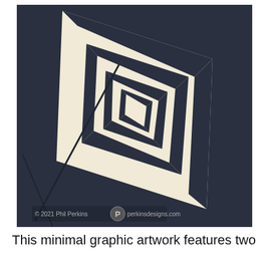[Figure (illustration): Minimal graphic artwork showing a dark navy blue background with a cream/off-white spiral square pattern — nested squares rotated inward creating an optical illusion of depth, with a small rectangle at the center. Copyright watermark: © 2021 Phil Perkins with P logo and perkinsdesigns.com]
This minimal graphic artwork features two